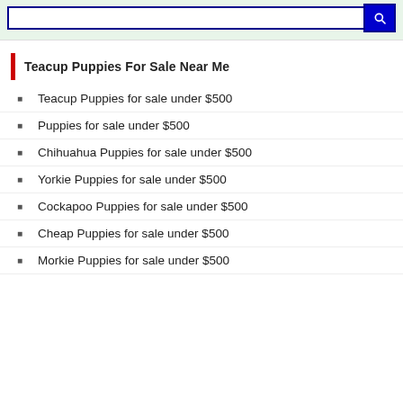[Figure (screenshot): Search bar with blue border and blue search button on green background]
Teacup Puppies For Sale Near Me
Teacup Puppies for sale under $500
Puppies for sale under $500
Chihuahua Puppies for sale under $500
Yorkie Puppies for sale under $500
Cockapoo Puppies for sale under $500
Cheap Puppies for sale under $500
Morkie Puppies for sale under $500